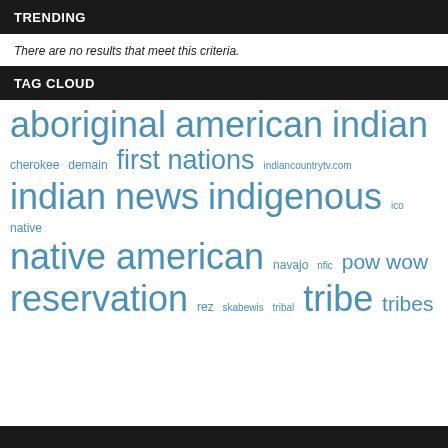TRENDING
There are no results that meet this criteria.
TAG CLOUD
aboriginal american indian cherokee demain first nations indiancountrytv.com indian news indigenous ico native native american navajo nfic pow wow reservation rez skabewis tribal tribe tribes